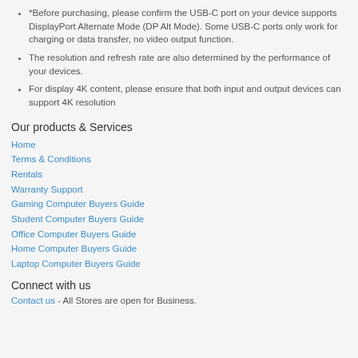*Before purchasing, please confirm the USB-C port on your device supports DisplayPort Alternate Mode (DP Alt Mode). Some USB-C ports only work for charging or data transfer, no video output function.
The resolution and refresh rate are also determined by the performance of your devices.
For display 4K content, please ensure that both input and output devices can support 4K resolution
Our products & Services
Home
Terms & Conditions
Rentals
Warranty Support
Gaming Computer Buyers Guide
Student Computer Buyers Guide
Office Computer Buyers Guide
Home Computer Buyers Guide
Laptop Computer Buyers Guide
Connect with us
Contact us - All Stores are open for Business.